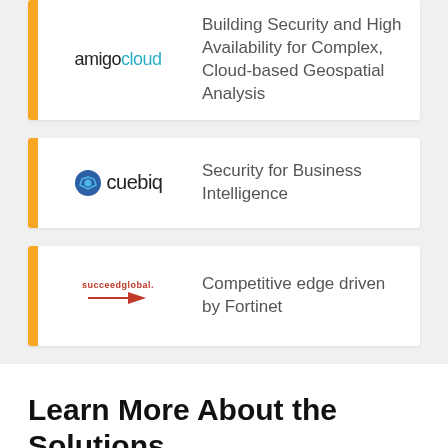[Figure (logo): Amigocloud logo with text card: Building Security and High Availability for Complex, Cloud-based Geospatial Analysis]
Building Security and High Availability for Complex, Cloud-based Geospatial Analysis
[Figure (logo): Cuebiq logo]
Security for Business Intelligence
[Figure (logo): succeedglobal logo]
Competitive edge driven by Fortinet
Learn More About the Solutions